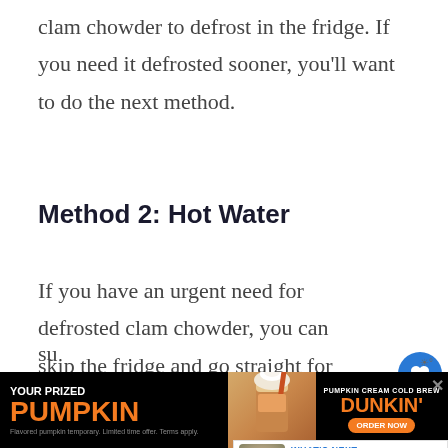clam chowder to defrost in the fridge. If you need it defrosted sooner, you'll want to do the next method.
Method 2: Hot Water
If you have an urgent need for defrosted clam chowder, you can skip the fridge and go straight for the hot water method. P[lace] the container of chowder in a bas[in of hot] water, or fill the sink with hot water before su[bmerging it].
[Figure (screenshot): UI overlay showing heart/like button (blue circle) and share button, plus a 'What's Next' widget showing a bowl of chowder image with text 'Can You Freeze New...']
[Figure (photo): Advertisement banner for Dunkin' Pumpkin Cream Cold Brew with text 'YOUR PRIZED PUMPKIN' and 'DUNKIN' ORDER NOW' button]